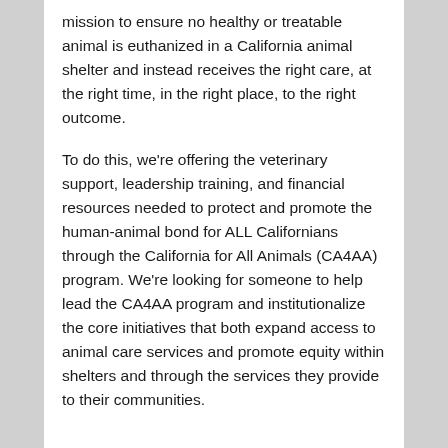mission to ensure no healthy or treatable animal is euthanized in a California animal shelter and instead receives the right care, at the right time, in the right place, to the right outcome.
To do this, we're offering the veterinary support, leadership training, and financial resources needed to protect and promote the human-animal bond for ALL Californians through the California for All Animals (CA4AA) program. We're looking for someone to help lead the CA4AA program and institutionalize the core initiatives that both expand access to animal care services and promote equity within shelters and through the services they provide to their communities.